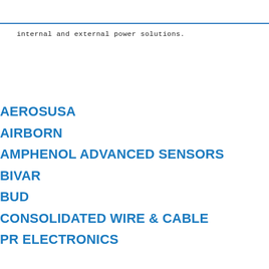internal and external power solutions.
AEROSUSA
AIRBORN
AMPHENOL ADVANCED SENSORS
BIVAR
BUD
CONSOLIDATED WIRE & CABLE
PR ELECTRONICS